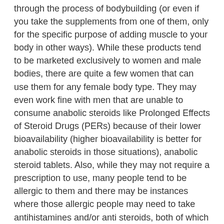through the process of bodybuilding (or even if you take the supplements from one of them, only for the specific purpose of adding muscle to your body in other ways). While these products tend to be marketed exclusively to women and male bodies, there are quite a few women that can use them for any female body type. They may even work fine with men that are unable to consume anabolic steroids like Prolonged Effects of Steroid Drugs (PERs) because of their lower bioavailability (higher bioavailability is better for anabolic steroids in those situations), anabolic steroid tablets. Also, while they may not require a prescription to use, many people tend to be allergic to them and there may be instances where those allergic people may need to take antihistamines and/or anti steroids, both of which may lower the bioavailability of Cyproter as well, where to buy anabolic androgenic steroids.